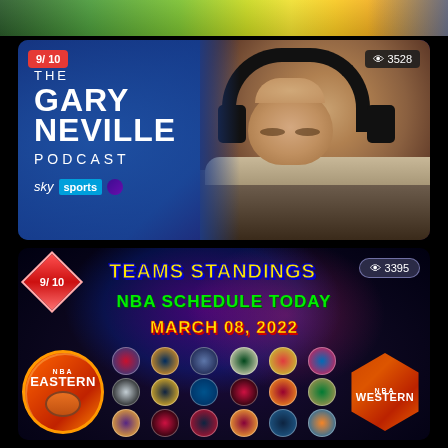[Figure (screenshot): Top strip showing a sports field/stadium in green and yellow tones]
[Figure (screenshot): The Gary Neville Podcast thumbnail on Sky Sports. Shows '9/10' badge top-left, '3528 views' top-right, text 'THE GARY NEVILLE PODCAST sky sports' on blue background with man wearing headphones on right side.]
[Figure (screenshot): NBA Teams Standings thumbnail. Shows '9/10' diamond badge, '3395 views', text 'TEAMS STANDINGS NBA SCHEDULE TODAY MARCH 08, 2022' with NBA Eastern and Western conference logos and team logos grid.]